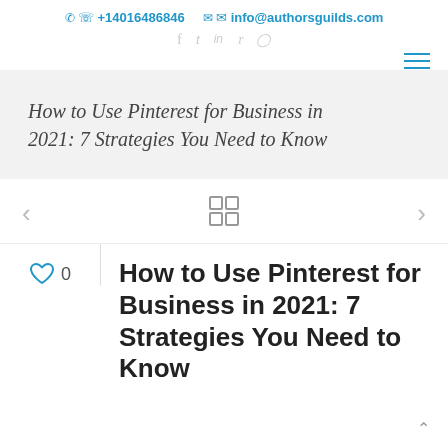+14016486846  info@authorsguilds.com
How to Use Pinterest for Business in 2021: 7 Strategies You Need to Know
How to Use Pinterest for Business in 2021: 7 Strategies You Need to Know